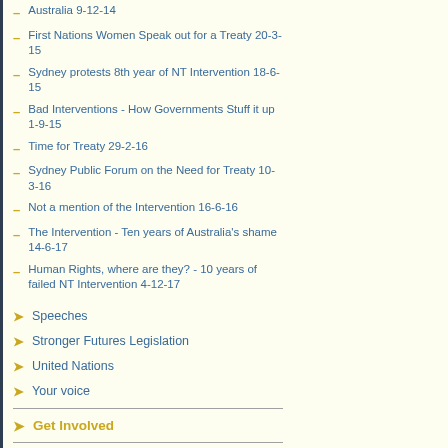Australia 9-12-14
First Nations Women Speak out for a Treaty 20-3-15
Sydney protests 8th year of NT Intervention 18-6-15
Bad Interventions - How Governments Stuff it up 1-9-15
Time for Treaty 29-2-16
Sydney Public Forum on the Need for Treaty 10-3-16
Not a mention of the Intervention 16-6-16
The Intervention - Ten years of Australia's shame 14-6-17
Human Rights, where are they? - 10 years of failed NT Intervention 4-12-17
Speeches
Stronger Futures Legislation
United Nations
Your voice
Get Involved